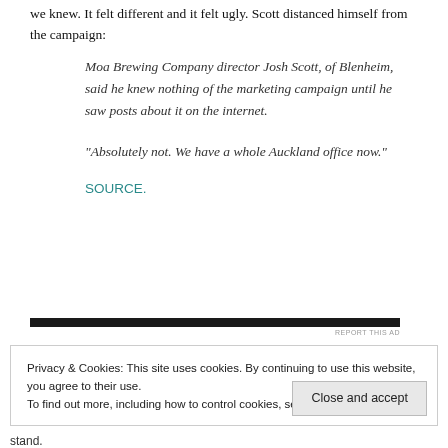we knew. It felt different and it felt ugly. Scott distanced himself from the campaign:
Moa Brewing Company director Josh Scott, of Blenheim, said he knew nothing of the marketing campaign until he saw posts about it on the internet.
“Absolutely not. We have a whole Auckland office now.”
SOURCE.
[Figure (other): Dark horizontal advertisement bar with 'REPORT THIS AD' text]
Privacy & Cookies: This site uses cookies. By continuing to use this website, you agree to their use.
To find out more, including how to control cookies, see here: Cookie Policy
Close and accept
stand.